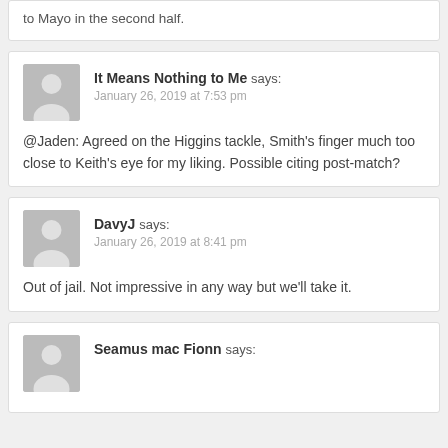to Mayo in the second half.
It Means Nothing to Me says: January 26, 2019 at 7:53 pm
@Jaden: Agreed on the Higgins tackle, Smith's finger much too close to Keith's eye for my liking. Possible citing post-match?
DavyJ says: January 26, 2019 at 8:41 pm
Out of jail. Not impressive in any way but we'll take it.
Seamus mac Fionn says: